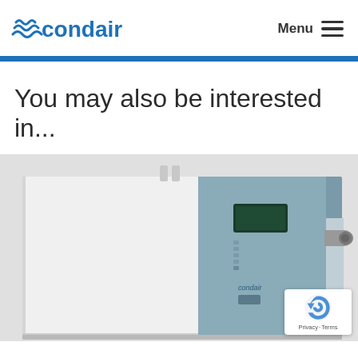condair  Menu
You may also be interested in...
[Figure (photo): Industrial humidifier unit by Condair — a large rectangular appliance with white left panel and teal/grey right panel featuring a control display, indicator lights, and Condair branding, with pipes on top and a cylindrical outlet on the right side.]